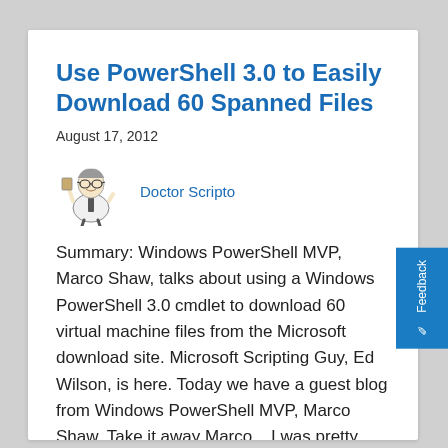Use PowerShell 3.0 to Easily Download 60 Spanned Files
August 17, 2012
[Figure (illustration): Doctor Scripto mascot — cartoon scientist/doctor figure holding something]
Doctor Scripto
Summary: Windows PowerShell MVP, Marco Shaw, talks about using a Windows PowerShell 3.0 cmdlet to download 60 virtual machine files from the Microsoft download site. Microsoft Scripting Guy, Ed Wilson, is here. Today we have a guest blog from Windows PowerShell MVP, Marco Shaw. Take it away Marco... I was pretty excited when I recently ...